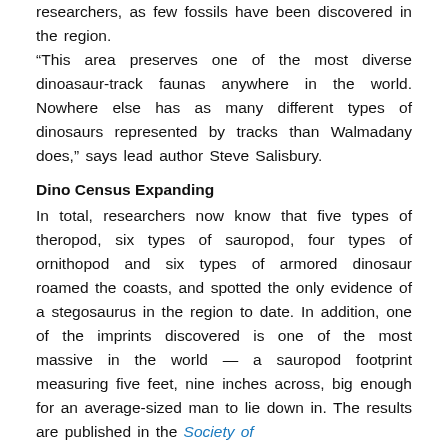researchers, as few fossils have been discovered in the region.
“This area preserves one of the most diverse dinoasaur-track faunas anywhere in the world. Nowhere else has as many different types of dinosaurs represented by tracks than Walmadany does,” says lead author Steve Salisbury.
Dino Census Expanding
In total, researchers now know that five types of theropod, six types of sauropod, four types of ornithopod and six types of armored dinosaur roamed the coasts, and spotted the only evidence of a stegosaurus in the region to date. In addition, one of the imprints discovered is one of the most massive in the world — a sauropod footprint measuring five feet, nine inches across, big enough for an average-sized man to lie down in. The results are published in the Society of